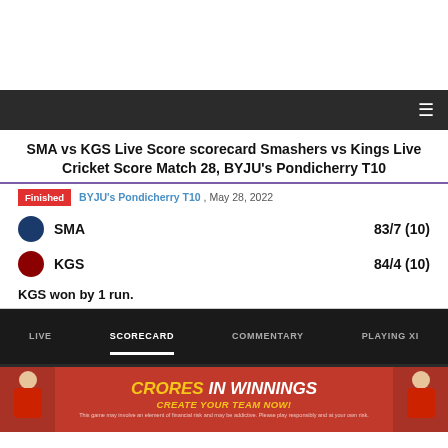SMA vs KGS Live Score scorecard Smashers vs Kings Live Cricket Score Match 28, BYJU's Pondicherry T10
Finished  BYJU's Pondicherry T10 , May 28, 2022
SMA  83/7 (10)
KGS  84/4 (10)
KGS won by 1 run.
LIVE   SCORECARD   COMMENTARY   PLAYING XI
[Figure (photo): Advertisement banner with red background showing 'CRORES IN WINNINGS - CREATE YOUR TEAM NOW!' with two cricket players on either side and a disclaimer text at the bottom.]